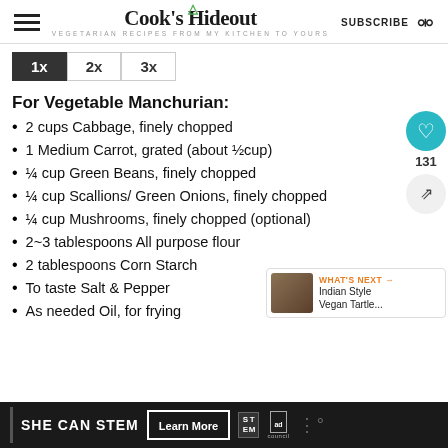Cook's Hideout — VEGETARIAN RECIPES FROM MY KITCHEN TO YOURS | SUBSCRIBE
For Vegetable Manchurian:
2 cups Cabbage, finely chopped
1 Medium Carrot, grated (about ½cup)
¼ cup Green Beans, finely chopped
¼ cup Scallions/ Green Onions, finely chopped
¼ cup Mushrooms, finely chopped (optional)
2~3 tablespoons All purpose flour
2 tablespoons Corn Starch
To taste Salt & Pepper
As needed Oil, for frying
SHE CAN STEM  Learn More